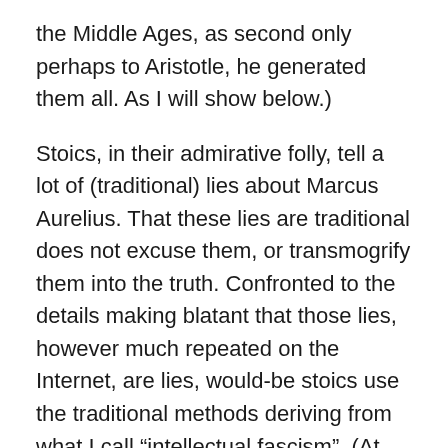the Middle Ages, as second only perhaps to Aristotle, he generated them all. As I will show below.)
Stoics, in their admirative folly, tell a lot of (traditional) lies about Marcus Aurelius. That these lies are traditional does not excuse them, or transmogrify them into the truth. Confronted to the details making blatant that those lies, however much repeated on the Internet, are lies, would-be stoics use the traditional methods deriving from what I call “intellectual fascism”. (At least that’s coherent, as Marcus Aurelius described, one could say, invented, and sang the praises of that mental method I call “Intellectual fascism”.)
I have attracted the anger of bankers, Muslims, Christians, American fanatics, and many other critters such as “Antisemites”. Unfortunately, apparently overwhelmed by a mountain of evidence and scholarship, bankers and